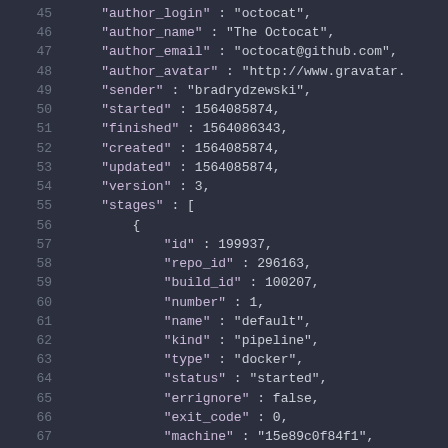Code snippet showing JSON object fields: author_name, author_email, author_avatar, sender, started, finished, created, updated, version, stages array with nested object fields id, repo_id, build_id, number, name, kind, type, status, errignore, exit_code, machine, os. Line numbers 45-68.